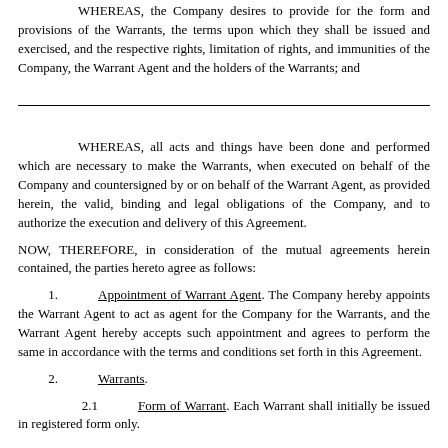WHEREAS, the Company desires to provide for the form and provisions of the Warrants, the terms upon which they shall be issued and exercised, and the respective rights, limitation of rights, and immunities of the Company, the Warrant Agent and the holders of the Warrants; and
WHEREAS, all acts and things have been done and performed which are necessary to make the Warrants, when executed on behalf of the Company and countersigned by or on behalf of the Warrant Agent, as provided herein, the valid, binding and legal obligations of the Company, and to authorize the execution and delivery of this Agreement.
NOW, THEREFORE, in consideration of the mutual agreements herein contained, the parties hereto agree as follows:
1.    Appointment of Warrant Agent. The Company hereby appoints the Warrant Agent to act as agent for the Company for the Warrants, and the Warrant Agent hereby accepts such appointment and agrees to perform the same in accordance with the terms and conditions set forth in this Agreement.
2.    Warrants.
2.1    Form of Warrant. Each Warrant shall initially be issued in registered form only.